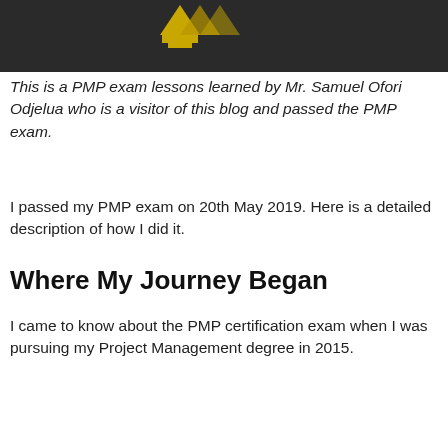[Figure (photo): Dark background photo with a yellow/gold crown or trophy shape visible in the upper portion]
This is a PMP exam lessons learned by Mr. Samuel Ofori Odjelua who is a visitor of this blog and passed the PMP exam.
I passed my PMP exam on 20th May 2019. Here is a detailed description of how I did it.
Where My Journey Began
I came to know about the PMP certification exam when I was pursuing my Project Management degree in 2015.